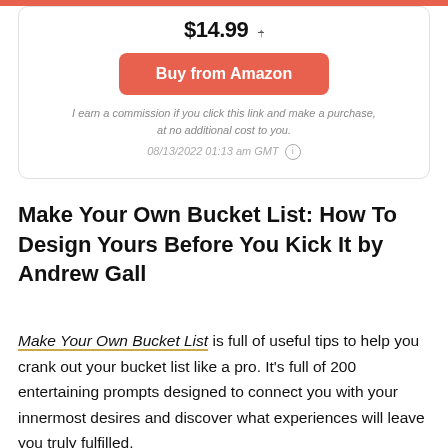$14.99 [strikethrough price]
Buy from Amazon
I earn a commission if you click this link and make a purchase, at no additional cost to you.
08/13/2022 01:13 am GMT ℹ
Make Your Own Bucket List: How To Design Yours Before You Kick It by Andrew Gall
Make Your Own Bucket List is full of useful tips to help you crank out your bucket list like a pro. It's full of 200 entertaining prompts designed to connect you with your innermost desires and discover what experiences will leave you truly fulfilled.